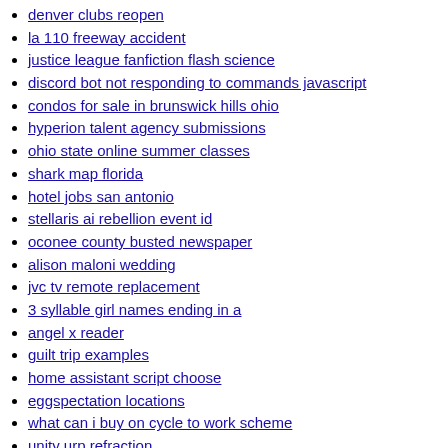denver clubs reopen
la 110 freeway accident
justice league fanfiction flash science
discord bot not responding to commands javascript
condos for sale in brunswick hills ohio
hyperion talent agency submissions
ohio state online summer classes
shark map florida
hotel jobs san antonio
stellaris ai rebellion event id
oconee county busted newspaper
alison maloni wedding
jvc tv remote replacement
3 syllable girl names ending in a
angel x reader
guilt trip examples
home assistant script choose
eggspectation locations
what can i buy on cycle to work scheme
unity urp refraction
lax terminal 3
wells fargo work from home policy
bringing edibles to costa rica
whizzer wrestling
pebt summer 2022 ohio